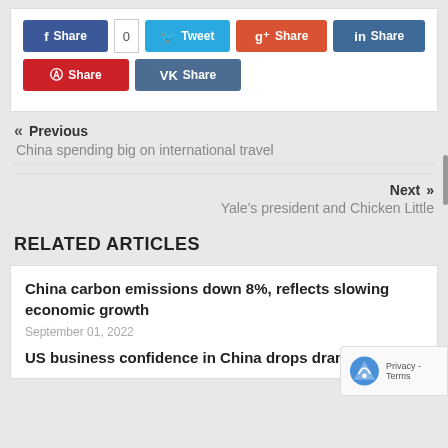[Figure (other): Social sharing buttons: f Share (0), Tweet, g+ Share, in Share, Pinterest Share, VK Share]
« Previous
China spending big on international travel
Next »
Yale's president and Chicken Little
RELATED ARTICLES
China carbon emissions down 8%, reflects slowing economic growth
September 01, 2022
US business confidence in China drops dramatically,